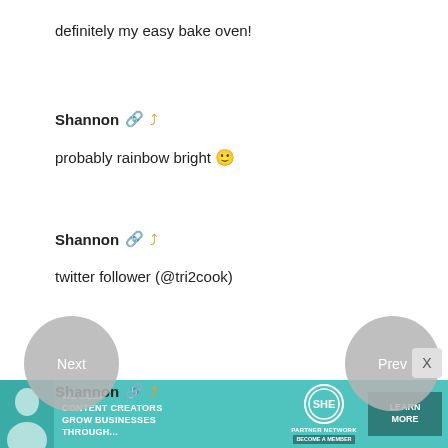definitely my easy bake oven!
Shannon 🔗 ↩
probably rainbow bright 🙂
Shannon 🔗 ↩
twitter follower (@tri2cook)
Shannon 🔗 ↩
[Figure (screenshot): Advertisement banner for SHE Media Partner Network with text 'We help content creators grow businesses through...' and a 'Learn More' button]